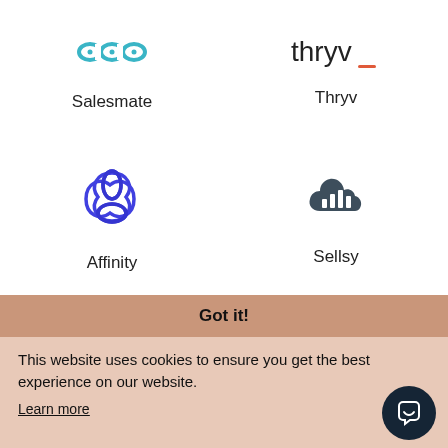[Figure (logo): Salesmate logo - three interlocked chain link ovals in teal/cyan]
[Figure (logo): Thryv logo - lowercase thryv text with orange underline on v]
Salesmate
Thryv
[Figure (logo): Affinity logo - four rounded interlocked loops in blue/purple]
[Figure (logo): Sellsy logo - dark cloud with bar chart icon]
Affinity
Sellsy
Got it!
This website uses cookies to ensure you get the best experience on our website.
Learn more